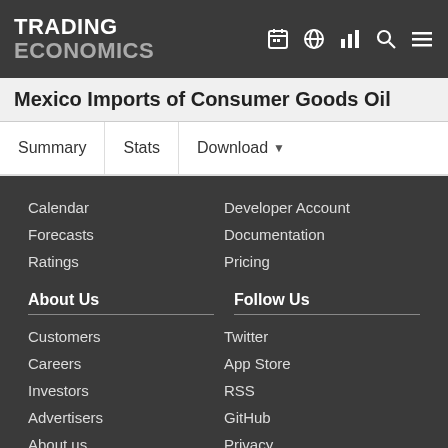TRADING ECONOMICS
Mexico Imports of Consumer Goods Oil
Summary  Stats  Download
Calendar
Forecasts
Ratings
Developer Account
Documentation
Pricing
About Us
Follow Us
Customers
Careers
Investors
Advertisers
About us
Twitter
App Store
RSS
GitHub
Privacy
Copyright ©2022 TRADING ECONOMICS
All Rights Reserved